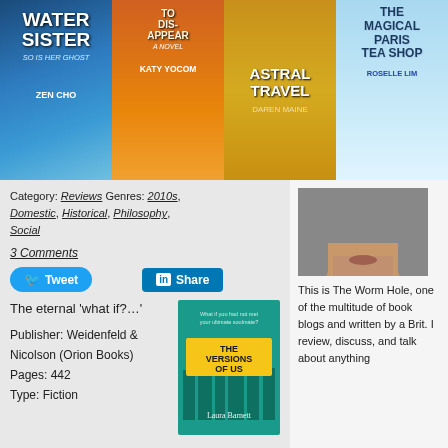[Figure (illustration): Four book covers in a banner: Water Sister by Zen Cho, To Disappear (A Novel) by Katy Yocom, Astral Travel by Daren Maine, and The Magical Paris Tea Shop by Roselle Lim]
Category: Reviews Genres: 2010s, Domestic, Historical, Philosophy, Social
3 Comments
Tweet   Share
The eternal 'what if?…'
Publisher: Weidenfeld & Nicolson (Orion Books)
Pages: 442
Type: Fiction
[Figure (illustration): Book cover of 'The Versions of Us' by Laura Barnett, teal background with illustrated buildings and banner title]
[Figure (photo): Portrait photo of a person, partially visible, lower half of face shown]
This is The Worm Hole, one of the multitude of book blogs and written by a Brit. I review, discuss, and talk about anything